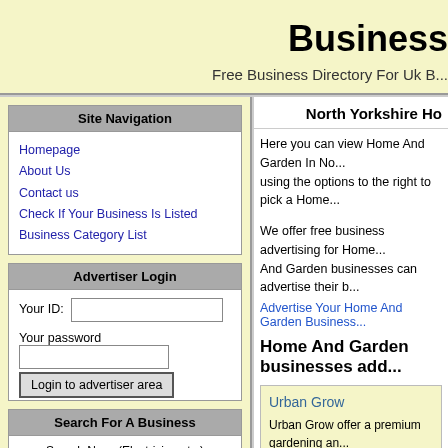Business
Free Business Directory For Uk B...
Site Navigation
Homepage
About Us
Contact us
Check If Your Business Is Listed
Business Category List
Advertiser Login
Your ID: [input] Your password [input] Login to advertiser area
Search For A Business
Search Now: (Electrician etc ) [input]
North Yorkshire Ho...
Here you can view Home And Garden In No... using the options to the right to pick a Home...
We offer free business advertising for Home... And Garden businesses can advertise their b...
Advertise Your Home And Garden Business...
Home And Garden businesses add...
Urban Grow
Urban Grow offer a premium gardening an... to use with confidence. Each product is han... reliable and are ....View full advert details
Listed in: north-yorkshire - Harrogate